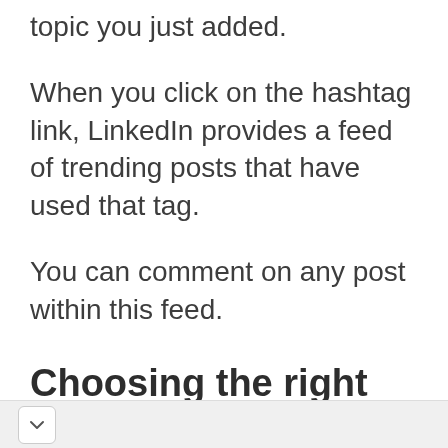topic you just added.
When you click on the hashtag link, LinkedIn provides a feed of trending posts that have used that tag.
You can comment on any post within this feed.
Choosing the right hashtag